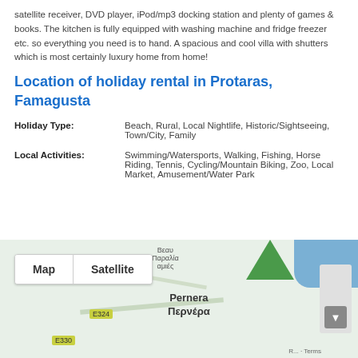satellite receiver, DVD player, iPod/mp3 docking station and plenty of games & books. The kitchen is fully equipped with washing machine and fridge freezer etc. so everything you need is to hand. A spacious and cool villa with shutters which is most certainly luxury home from home!
Location of holiday rental in Protaras, Famagusta
Holiday Type: Beach, Rural, Local Nightlife, Historic/Sightseeing, Town/City, Family
Local Activities: Swimming/Watersports, Walking, Fishing, Horse Riding, Tennis, Cycling/Mountain Biking, Zoo, Local Market, Amusement/Water Park
[Figure (map): Google Map showing Pernera/Περνέρα area near Protaras, Famagusta with Map/Satellite toggle buttons and road labels E324 and E330]